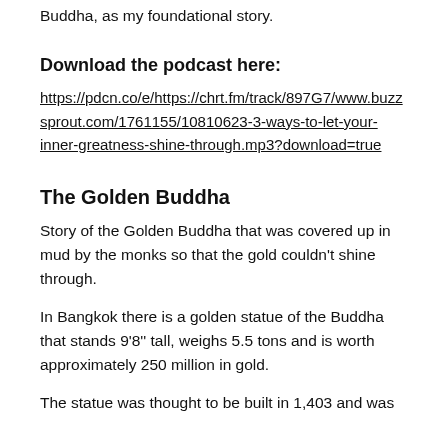Buddha, as my foundational story.
Download the podcast here:
https://pdcn.co/e/https://chrt.fm/track/897G7/www.buzzsprout.com/1761155/10810623-3-ways-to-let-your-inner-greatness-shine-through.mp3?download=true
The Golden Buddha
Story of the Golden Buddha that was covered up in mud by the monks so that the gold couldn't shine through.
In Bangkok there is a golden statue of the Buddha that stands 9'8" tall, weighs 5.5 tons and is worth approximately 250 million in gold.
The statue was thought to be built in 1,403 and was